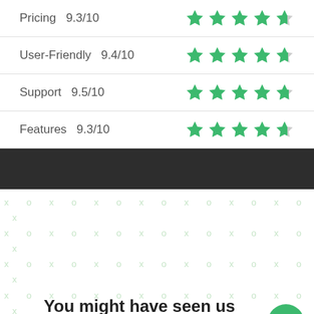Pricing  9.3/10
User-Friendly  9.4/10
Support  9.5/10
Features  9.3/10
You might have seen us featured in: